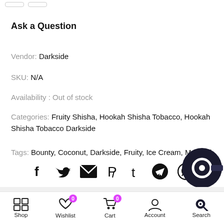[Figure (other): Two rounded rectangle buttons at top left]
Ask a Question
Vendor: Darkside
SKU: N/A
Availability : Out of stock
Categories: Fruity Shisha, Hookah Shisha Tobacco, Hookah Shisha Tobacco Darkside
Tags: Bounty, Coconut, Darkside, Fruity, Ice Cream, Menthol
[Figure (other): Social sharing icons: Facebook, Twitter, Email, Pinterest, Tumblr, Telegram, WhatsApp]
[Figure (other): Dark circular chat/search bubble at bottom right]
Shop | Wishlist 0 | Cart 0 | Account | Search